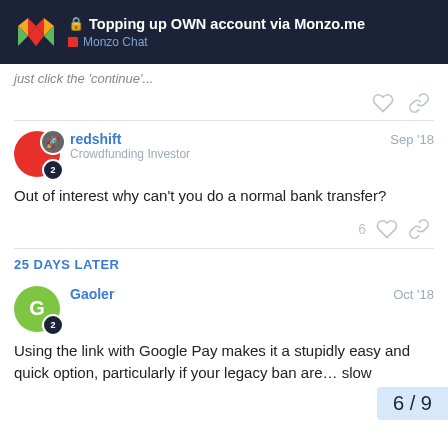Topping up OWN account via Monzo.me — Monzo Chat
just click the 'continue'...
redshift — Crowdfunding Investor — Sep '18
Out of interest why can't you do a normal bank transfer?
6
25 DAYS LATER
Gaoler — Oct '18
Using the link with Google Pay makes it a stupidly easy and quick option, particularly if your legacy ban are… slow